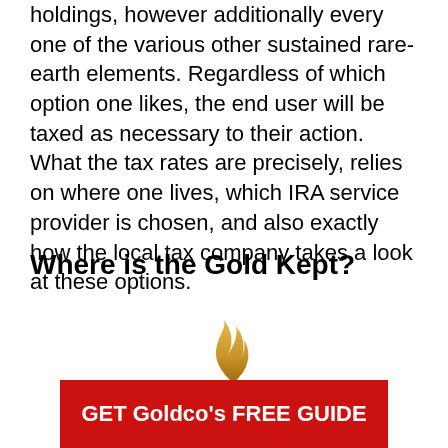holdings, however additionally every one of the various other sustained rare-earth elements. Regardless of which option one likes, the end user will be taxed as necessary to their action. What the tax rates are precisely, relies on where one lives, which IRA service provider is chosen, and also exactly how the local tax company takes a look at these options.
Where is the Gold Kept?
[Figure (logo): Goldco logo with golden flame swirl above the text GOLDCO in black serif font with registered trademark symbol]
[Figure (other): Red call-to-action button with white bold text reading GET Goldco's FREE GUIDE]